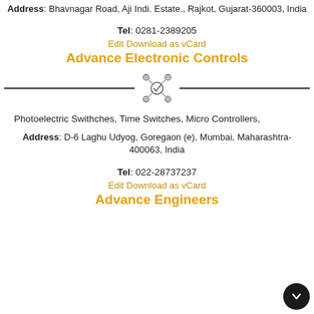Address: Bhavnagar Road, Aji Indi. Estate., Rajkot, Gujarat-360003, India
Tel: 0281-2389205
Edit Download as vCard
Advance Electronic Controls
[Figure (illustration): Decorative icon with a checkmark circle and four satellite nodes, flanked by horizontal divider lines]
Photoelectric Swithches, Time Switches, Micro Controllers,
Address: D-6 Laghu Udyog, Goregaon (e), Mumbai, Maharashtra-400063, India
Tel: 022-28737237
Edit Download as vCard
Advance Engineers